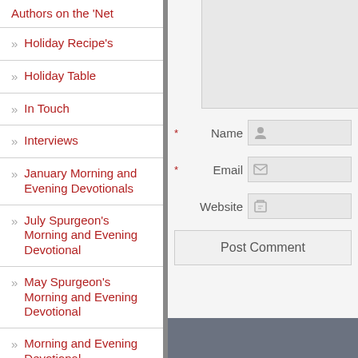Authors on the 'Net
» Holiday Recipe's
» Holiday Table
» In Touch
» Interviews
» January Morning and Evening Devotionals
» July Spurgeon's Morning and Evening Devotional
» May Spurgeon's Morning and Evening Devotional
» Morning and Evening Devotional
[Figure (screenshot): Web form with Name, Email, Website fields and Post Comment button on right side of page]